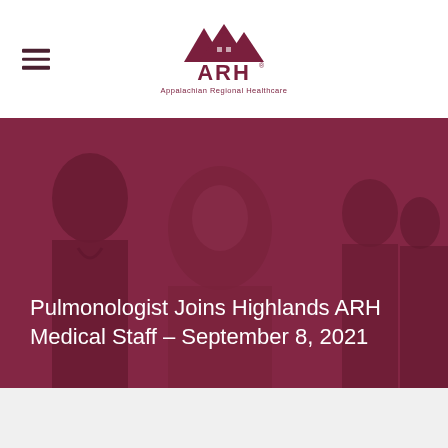[Figure (logo): ARH Appalachian Regional Healthcare logo — mountain silhouette above stylized ARH text]
[Figure (photo): Dark maroon-tinted photo of medical professionals interacting, overlaid with a dark maroon translucent layer. Shows a patient or colleague smiling in center, with silhouettes of healthcare workers in background.]
Pulmonologist Joins Highlands ARH Medical Staff – September 8, 2021